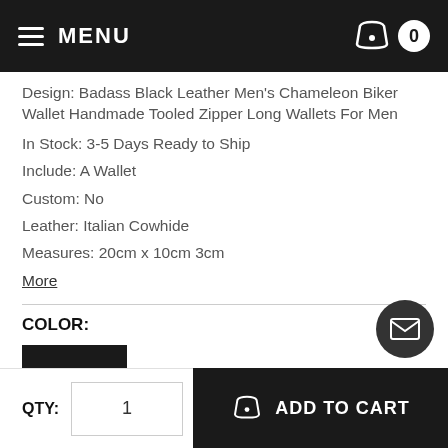MENU  0
Design: Badass Black Leather Men's Chameleon Biker Wallet Handmade Tooled Zipper Long Wallets For Men
In Stock:  3-5 Days Ready to Ship
Include: A Wallet
Custom: No
Leather:  Italian Cowhide
Measures: 20cm x 10cm 3cm
More
COLOR:
BLACK
QTY:  1  ADD TO CART